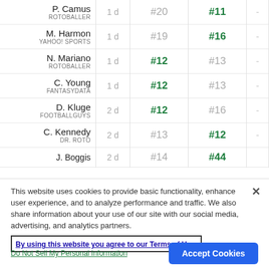| Expert | Age | Rank1 | Rank2 |  |
| --- | --- | --- | --- | --- |
| P. Camus
ROTOBALLER | 1 d | #20 | #11 | - |
| M. Harmon
YAHOO! SPORTS | 1 d | #19 | #16 | - |
| N. Mariano
ROTOBALLER | 1 d | #12 | #13 | - |
| C. Young
FANTASYDATA | 1 d | #12 | #13 | - |
| D. Kluge
FOOTBALLGUYS | 2 d | #12 | #16 | - |
| C. Kennedy
DR. ROTO | 2 d | #13 | #12 | - |
| J. Boggis | 2 d | #14 | #44 |  |
This website uses cookies to provide basic functionality, enhance user experience, and to analyze performance and traffic. We also share information about your use of our site with our social media, advertising, and analytics partners.
By using this website you agree to our Terms of Use.
Do Not Sell My Personal Information
Accept Cookies